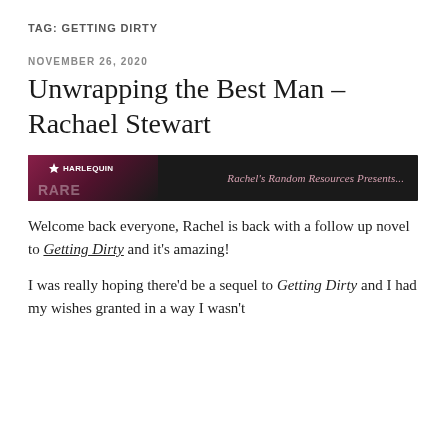TAG: GETTING DIRTY
NOVEMBER 26, 2020
Unwrapping the Best Man – Rachael Stewart
[Figure (illustration): Harlequin RARE banner with dark background, pink/magenta gradient on the left side, Harlequin logo and 'RARE' text on left, 'Rachel's Random Resources Presents...' in italic script on the right]
Welcome back everyone, Rachel is back with a follow up novel to Getting Dirty and it's amazing!

I was really hoping there'd be a sequel to Getting Dirty and I had my wishes granted in a way I wasn't